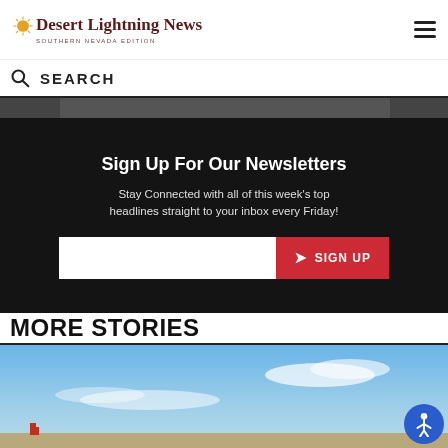Desert Lightning News — Southern Nevada Edition
SEARCH
[Figure (photo): Partial top image strip, dark/grey background]
Sign Up For Our Newsletters
Stay Connected with all of this week's top headlines straight to your inbox every Friday!
SIGN UP (newsletter email input and button)
MORE STORIES
[Figure (photo): Desert landscape with blue sky and clouds, bottom portion visible]